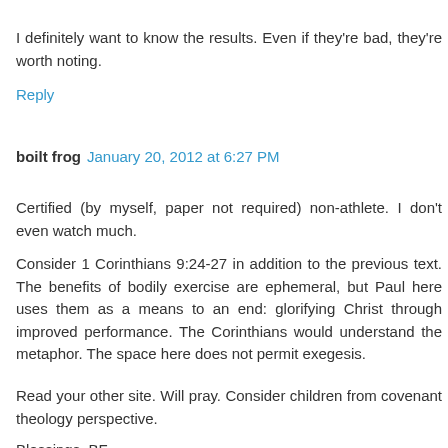I definitely want to know the results. Even if they're bad, they're worth noting.
Reply
boilt frog  January 20, 2012 at 6:27 PM
Certified (by myself, paper not required) non-athlete. I don't even watch much.
Consider 1 Corinthians 9:24-27 in addition to the previous text. The benefits of bodily exercise are ephemeral, but Paul here uses them as a means to an end: glorifying Christ through improved performance. The Corinthians would understand the metaphor. The space here does not permit exegesis.
Read your other site. Will pray. Consider children from covenant theology perspective.
Blessings, BF